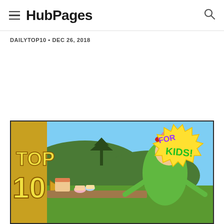HubPages
DAILYTOP10 • DEC 26, 2018
[Figure (illustration): Colorful illustrated banner image showing cartoon characters at a tea party setting with 'TOP 10' text on the left and 'FOR KIDS!' in a star burst on the right, against a green outdoor background with pagoda silhouette.]